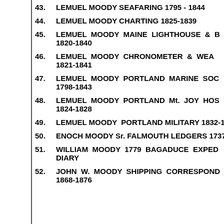43. LEMUEL MOODY SEAFARING 1795 - 1844
44. LEMUEL MOODY CHARTING 1825-1839
45. LEMUEL MOODY MAINE LIGHTHOUSE & B 1820-1840
46. LEMUEL MOODY CHRONOMETER & WEA 1821-1841
47. LEMUEL MOODY PORTLAND MARINE SOC 1798-1843
48. LEMUEL MOODY PORTLAND Mt. JOY HOS 1824-1828
49. LEMUEL MOODY PORTLAND MILITARY 1832-1
50. ENOCH MOODY Sr. FALMOUTH LEDGERS 1737 -
51. WILLIAM MOODY 1779 BAGADUCE EXPED DIARY
52. JOHN W. MOODY SHIPPING CORRESPOND 1868-1876